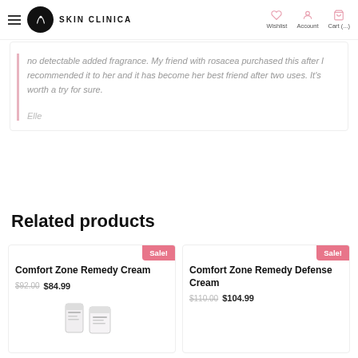SKIN CLINICA | Wishlist | Account | Cart (...)
no detectable added fragrance. My friend with rosacea purchased this after I recommended it to her and it has become her best friend after two uses. It's worth a try for sure.

Elle
Related products
Comfort Zone Remedy Cream
$92.00  $84.99
Sale!
Comfort Zone Remedy Defense Cream
$110.00  $104.99
Sale!